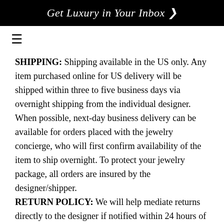Get Luxury in Your Inbox >
SHIPPING: Shipping available in the US only. Any item purchased online for US delivery will be shipped within three to five business days via overnight shipping from the individual designer. When possible, next-day business delivery can be available for orders placed with the jewelry concierge, who will first confirm availability of the item to ship overnight. To protect your jewelry package, all orders are insured by the designer/shipper.
RETURN POLICY: We will help mediate returns directly to the designer if notified within 24 hours of